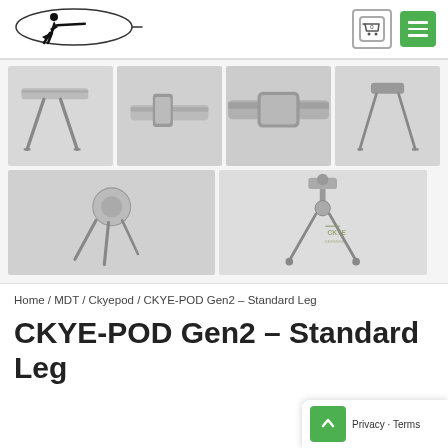[Figure (logo): Shooter silhouette inside bullet/ellipse shape logo]
[Figure (photo): Grid of 6 product photos showing CKYE-POD Gen2 Standard Leg bipod from various angles]
Home / MDT / Ckyepod / CKYE-POD Gen2 – Standard Leg
CKYE-POD Gen2 – Standard Leg